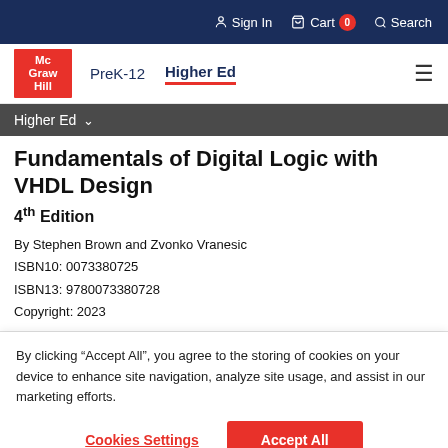Sign In  Cart 0  Search
[Figure (logo): McGraw Hill logo — white text on red background]
PreK-12  Higher Ed
Higher Ed
Fundamentals of Digital Logic with VHDL Design
4th Edition
By Stephen Brown and Zvonko Vranesic
ISBN10: 0073380725
ISBN13: 9780073380728
Copyright: 2023
By clicking “Accept All”, you agree to the storing of cookies on your device to enhance site navigation, analyze site usage, and assist in our marketing efforts.
Cookies Settings    Accept All